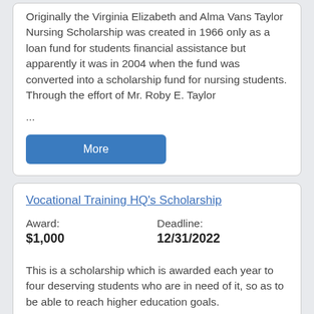Originally the Virginia Elizabeth and Alma Vans Taylor Nursing Scholarship was created in 1966 only as a loan fund for students financial assistance but apparently it was in 2004 when the fund was converted into a scholarship fund for nursing students. Through the effort of Mr. Roby E. Taylor ...
More
Vocational Training HQ's Scholarship
Award: $1,000   Deadline: 12/31/2022
This is a scholarship which is awarded each year to four deserving students who are in need of it, so as to be able to reach higher education goals.
More